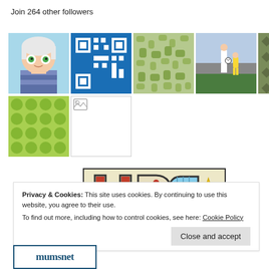Join 264 other followers
[Figure (screenshot): Grid of follower avatar thumbnails — animated cartoon character, blue QR-style pattern, green noise pattern, football photo, olive diamond pattern, blue QR-style pattern, pink QR-style pattern, red QR-style pattern, green bubble pattern, white placeholder with broken image icon]
[Figure (photo): Hand-drawn colorful letters 'UDC' with a yellow star, red polka dots, and blue grid pattern on a yellow/cream background]
Privacy & Cookies: This site uses cookies. By continuing to use this website, you agree to their use.
To find out more, including how to control cookies, see here: Cookie Policy
Close and accept
[Figure (logo): mumsnet logo in blue serif font inside a blue border box]